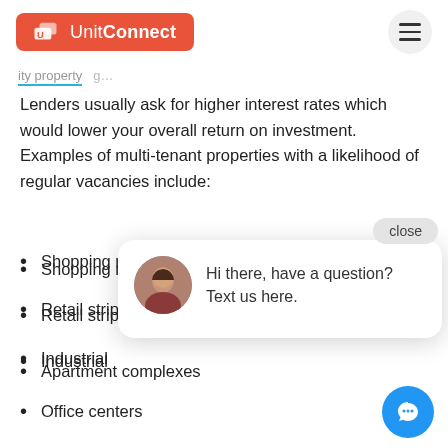UnitConnect
Lenders usually ask for higher interest rates which would lower your overall return on investment. Examples of multi-tenant properties with a likelihood of regular vacancies include:
Shopping malls
Retail strips
Industrial
Apartment complexes
Office centers
[Figure (other): Chat popup with avatar photo of a woman, message: Hi there, have a question? Text us here. Close button and blue chat button visible.]